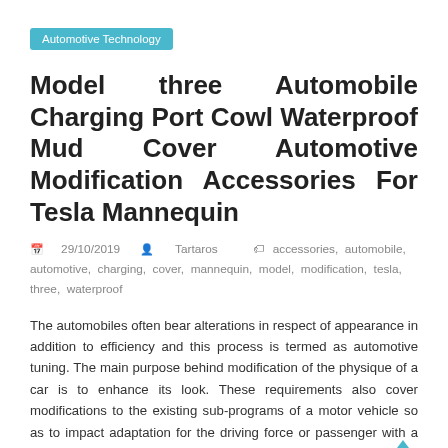Automotive Technology
Model three Automobile Charging Port Cowl Waterproof Mud Cover Automotive Modification Accessories For Tesla Mannequin
29/10/2019   Tartaros   accessories, automobile, automotive, charging, cover, mannequin, model, modification, tesla, three, waterproof
The automobiles often bear alterations in respect of appearance in addition to efficiency and this process is termed as automotive tuning. The main purpose behind modification of the physique of a car is to enhance its look. These requirements also cover modifications to the existing sub-programs of a motor vehicle so as to impact adaptation for the driving force or passenger with a disability.